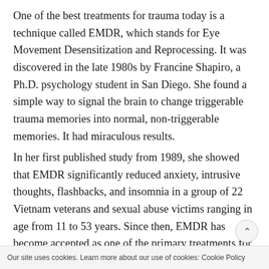One of the best treatments for trauma today is a technique called EMDR, which stands for Eye Movement Desensitization and Reprocessing. It was discovered in the late 1980s by Francine Shapiro, a Ph.D. psychology student in San Diego. She found a simple way to signal the brain to change triggerable trauma memories into normal, non-triggerable memories. It had miraculous results.
In her first published study from 1989, she showed that EMDR significantly reduced anxiety, intrusive thoughts, flashbacks, and insomnia in a group of 22 Vietnam veterans and sexual abuse victims ranging in age from 11 to 53 years. Since then, EMDR has become accepted as one of the primary treatments for trauma all over the world. An article from the 2005 American Journal of Psychiatry
Our site uses cookies. Learn more about our use of cookies: Cookie Policy